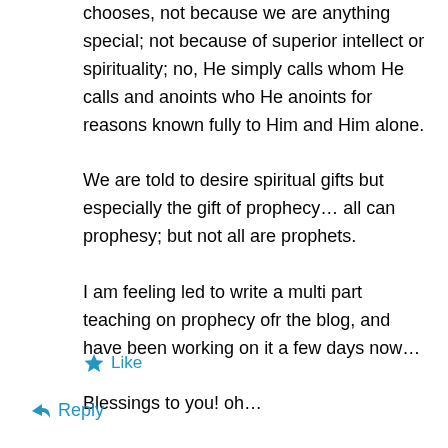chooses, not because we are anything special; not because of superior intellect or spirituality; no, He simply calls whom He calls and anoints who He anoints for reasons known fully to Him and Him alone.
We are told to desire spiritual gifts but especially the gift of prophecy… all can prophesy; but not all are prophets.
I am feeling led to write a multi part teaching on prophecy ofr the blog, and have been working on it a few days now…
Blessings to you! oh…
by the way, I like the poem. :>)
★ Like
↳ Reply